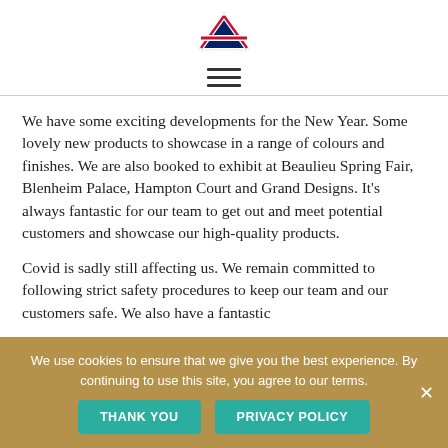[Figure (logo): UK flag / British crown logo — a red and blue Union Jack-style triangular emblem]
[Figure (other): Hamburger menu icon — three horizontal lines]
We have some exciting developments for the New Year. Some lovely new products to showcase in a range of colours and finishes. We are also booked to exhibit at Beaulieu Spring Fair, Blenheim Palace, Hampton Court and Grand Designs. It's always fantastic for our team to get out and meet potential customers and showcase our high-quality products.
Covid is sadly still affecting us. We remain committed to following strict safety procedures to keep our team and our customers safe. We also have a fantastic
We use cookies to ensure that we give you the best experience. By continuing to use this site, you agree to our terms.
THANK YOU
PRIVACY POLICY